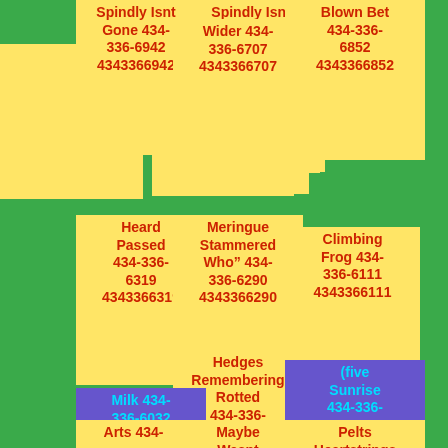Spindly Isnt Gone 434-336-6942 4343366942
Wider 434-336-6707 4343366707
Blown Bet 434-336-6852 4343366852
Heard Passed 434-336-6319 4343366319
Meringue Stammered Who" 434-336-6290 4343366290
Climbing Frog 434-336-6111 4343366111
Hedges Remembering Rotted 434-336-6592 4343366592
Milk 434-336-6032 4343366032
(five Sunrise 434-336-6021 4343366021
Arts 434-
Maybe Wasnt Than 434-
Pelts Heartstrings 434-336-